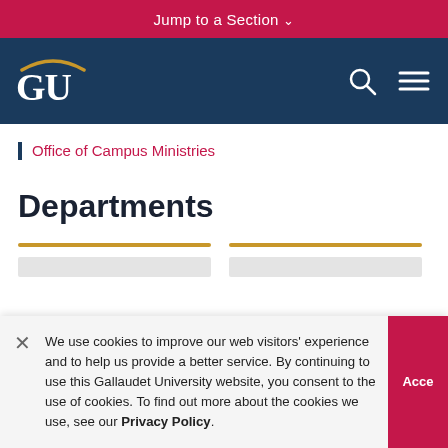Jump to a Section ∨
[Figure (logo): Georgetown University GU logo with gold arch, white text on navy background]
Office of Campus Ministries
Departments
We use cookies to improve our web visitors' experience and to help us provide a better service. By continuing to use this Gallaudet University website, you consent to the use of cookies. To find out more about the cookies we use, see our Privacy Policy.